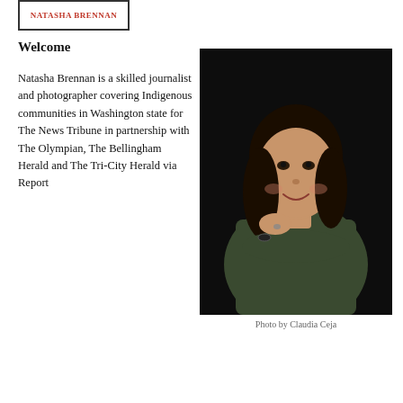NATASHA BRENNAN
Welcome
Natasha Brennan is a skilled journalist and photographer covering Indigenous communities in Washington state for The News Tribune in partnership with The Olympian, The Bellingham Herald and The Tri-City Herald via Report
[Figure (photo): Professional portrait photo of Natasha Brennan, a young woman with long dark wavy hair, wearing a dark green sweater, seated and smiling with arms crossed, against a dark background.]
Photo by Claudia Ceja